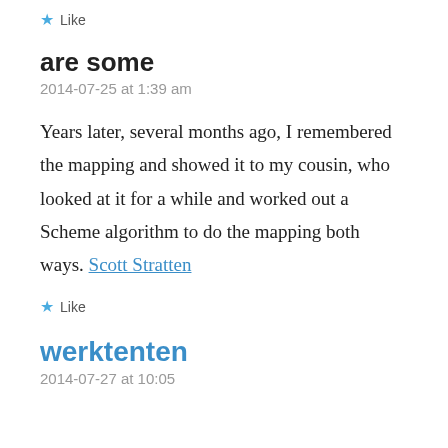★ Like
are some
2014-07-25 at 1:39 am
Years later, several months ago, I remembered the mapping and showed it to my cousin, who looked at it for a while and worked out a Scheme algorithm to do the mapping both ways. Scott Stratten
★ Like
werktenten
2014-07-27 at 10:05